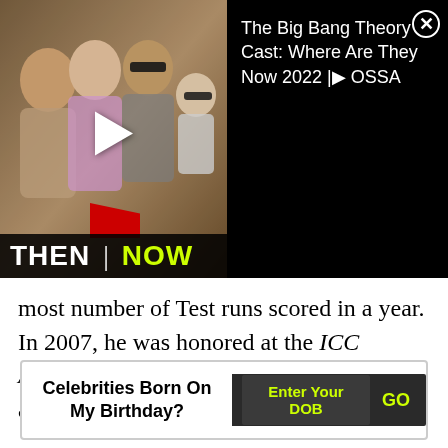[Figure (screenshot): Ad banner for 'The Big Bang Theory Cast: Where Are They Now 2022 | OSSA' video. Left half shows a photo collage with 'THEN | NOW' text overlay and a play button. Right half shows the video title text on black background with a close (X) button.]
most number of Test runs scored in a year. In 2007, he was honored at the ICC Awards with the Test Player of the Year award.
[Figure (infographic): Widget showing 'Celebrities Born On My Birthday?' with an 'Enter Your DOB' input field and 'GO' button on a dark background.]